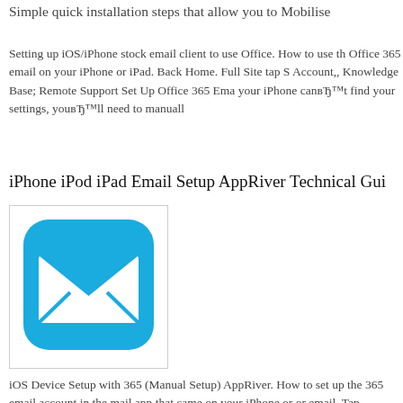Simple quick installation steps that allow you to Mobilise
Setting up iOS/iPhone stock email client to use Office. How to use the Office 365 email on your iPhone or iPad. Back Home. Full Site tap Settings Account,, Knowledge Base; Remote Support Set Up Office 365 Ema... your iPhone canвЂ™t find your settings, youвЂ™ll need to manuall...
iPhone iPod iPad Email Setup AppRiver Technical Gui...
[Figure (illustration): iOS Mail app icon — a blue rounded square with a white envelope icon centered on it]
iOS Device Setup with 365 (Manual Setup) AppRiver. How to set up the 365 email account in the mail app that came on your iPhone or o... email. Tap Settings. How to add O365 Exchange email to device (iO...